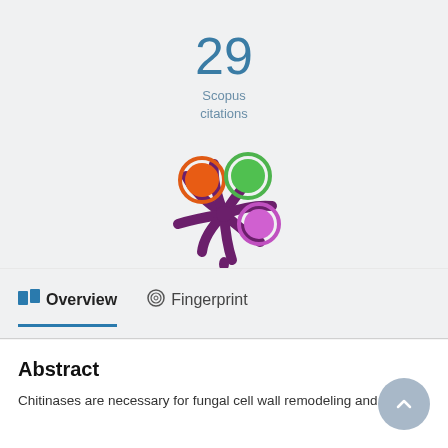29
Scopus
citations
[Figure (logo): Altmetric butterfly logo with orange, green, and purple/violet colored circles on a dark purple starburst shape]
Overview
Fingerprint
Abstract
Chitinases are necessary for fungal cell wall remodeling and cell